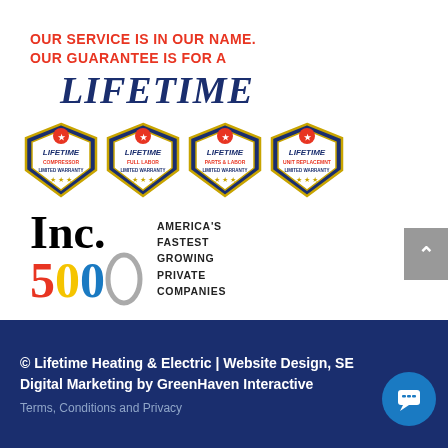OUR SERVICE IS IN OUR NAME. OUR GUARANTEE IS FOR A LIFETIME
[Figure (logo): Four shield badges each reading LIFETIME LIMITED WARRANTY]
[Figure (logo): Inc. 5000 America's Fastest Growing Private Companies logo]
© Lifetime Heating & Electric | Website Design, SEO & Digital Marketing by GreenHaven Interactive
Terms, Conditions and Privacy